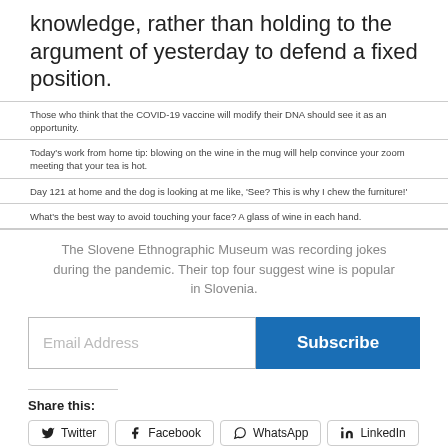knowledge, rather than holding to the argument of yesterday to defend a fixed position.
Those who think that the COVID-19 vaccine will modify their DNA should see it as an opportunity.
Today's work from home tip: blowing on the wine in the mug will help convince your zoom meeting that your tea is hot.
Day 121 at home and the dog is looking at me like, 'See? This is why I chew the furniture!'
What's the best way to avoid touching your face? A glass of wine in each hand.
The Slovene Ethnographic Museum was recording jokes during the pandemic. Their top four suggest wine is popular in Slovenia.
Email Address | Subscribe
Share this:
Twitter | Facebook | WhatsApp | LinkedIn | Email